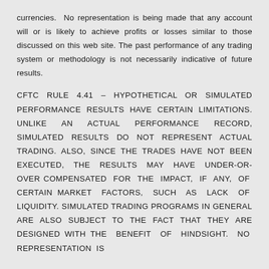currencies. No representation is being made that any account will or is likely to achieve profits or losses similar to those discussed on this web site. The past performance of any trading system or methodology is not necessarily indicative of future results.
CFTC RULE 4.41 – HYPOTHETICAL OR SIMULATED PERFORMANCE RESULTS HAVE CERTAIN LIMITATIONS. UNLIKE AN ACTUAL PERFORMANCE RECORD, SIMULATED RESULTS DO NOT REPRESENT ACTUAL TRADING. ALSO, SINCE THE TRADES HAVE NOT BEEN EXECUTED, THE RESULTS MAY HAVE UNDER-OR-OVER COMPENSATED FOR THE IMPACT, IF ANY, OF CERTAIN MARKET FACTORS, SUCH AS LACK OF LIQUIDITY. SIMULATED TRADING PROGRAMS IN GENERAL ARE ALSO SUBJECT TO THE FACT THAT THEY ARE DESIGNED WITH THE BENEFIT OF HINDSIGHT. NO REPRESENTATION IS